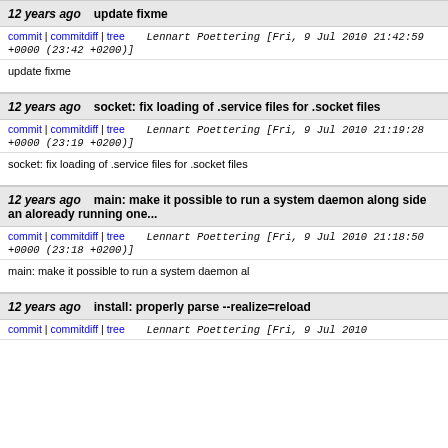12 years ago   update fixme
commit | commitdiff | tree   Lennart Poettering [Fri, 9 Jul 2010 21:42:59 +0000 (23:42 +0200)]
update fixme
12 years ago   socket: fix loading of .service files for .socket files
commit | commitdiff | tree   Lennart Poettering [Fri, 9 Jul 2010 21:19:28 +0000 (23:19 +0200)]
socket: fix loading of .service files for .socket files
12 years ago   main: make it possible to run a system daemon along side an aloready running one...
commit | commitdiff | tree   Lennart Poettering [Fri, 9 Jul 2010 21:18:50 +0000 (23:18 +0200)]
main: make it possible to run a system daemon al
12 years ago   install: properly parse --realize=reload
commit | commitdiff | tree   Lennart Poettering [Fri, 9 Jul 2010 21:05:59 +0000 (23:05 +0200)]